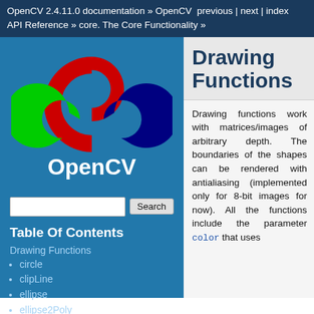OpenCV 2.4.11.0 documentation » OpenCV previous | next | index API Reference » core. The Core Functionality »
[Figure (logo): OpenCV logo with red, green, and blue horseshoe/C shapes arranged, with 'OpenCV' text below in white on blue background]
Search
Table Of Contents
Drawing Functions
circle
clipLine
ellipse
ellipse2Poly
fillConvexPoly
Drawing Functions
Drawing functions work with matrices/images of arbitrary depth. The boundaries of the shapes can be rendered with antialiasing (implemented only for 8-bit images for now). All the functions include the parameter color that uses